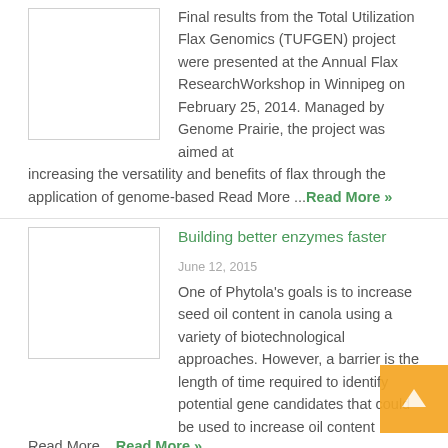Final results from the Total Utilization Flax Genomics (TUFGEN) project were presented at the Annual Flax ResearchWorkshop in Winnipeg on February 25, 2014. Managed by Genome Prairie, the project was aimed at increasing the versatility and benefits of flax through the application of genome-based Read More ...Read More »
Building better enzymes faster
June 12, 2015
One of Phytola's goals is to increase seed oil content in canola using a variety of biotechnological approaches. However, a barrier is the length of time required to identify potential gene candidates that could be used to increase oil content Read More ...Read More »
Phytola Scientific Director Recognized as a 2011 ASTech Honouree